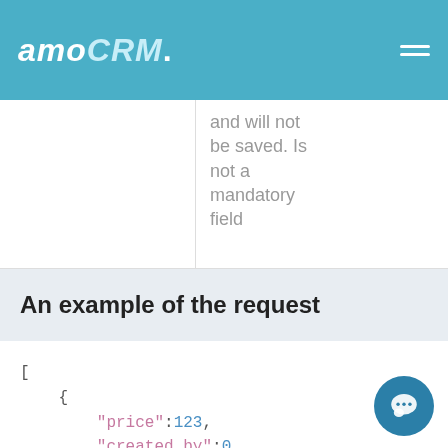amoCRM.
and will not be saved. Is not a mandatory field
An example of the request
[
    {
        "price":123,
        "created_by":0,
        "comment":"Commentary",
        "_embedded":{